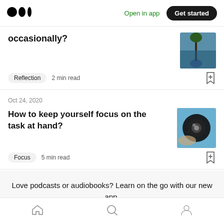Medium logo | Open in app | Get started
occasionally?
Reflection  2 min read
Oct 24, 2020
How to keep yourself focus on the task at hand?
Focus  5 min read
Love podcasts or audiobooks? Learn on the go with our new app.
Home | Search | Profile